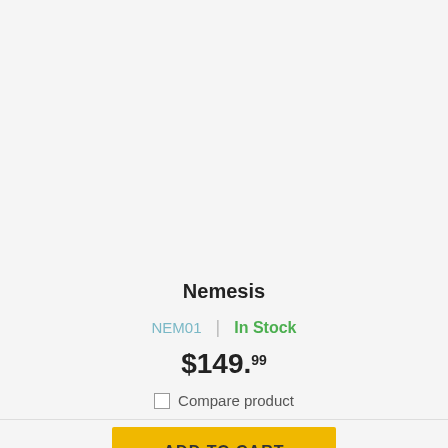Nemesis
NEM01 | In Stock
$149.99
Compare product
ADD TO CART